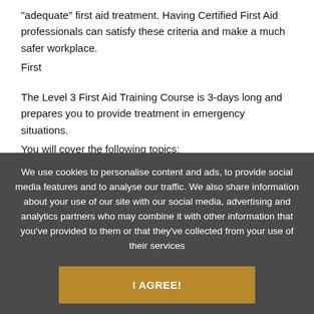"adequate" first aid treatment. Having Certified First Aid professionals can satisfy these criteria and make a much safer workplace.
First
The Level 3 First Aid Training Course is 3-days long and prepares you to provide treatment in emergency situations.
You will cover the following topics:
We use cookies to personalise content and ads, to provide social media features and to analyse our traffic. We also share information about your use of our site with our social media, advertising and analytics partners who may combine it with other information that you've provided to them or that they've collected from your use of their services